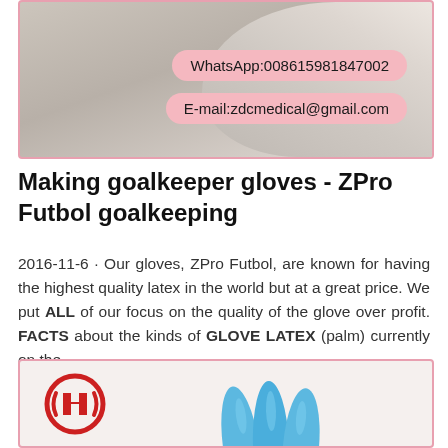[Figure (photo): White medical/latex glove on a hand, with contact badges showing WhatsApp and email details over a pink-bordered image box]
Making goalkeeper gloves - ZPro Futbol goalkeeping
2016-11-6 · Our gloves, ZPro Futbol, are known for having the highest quality latex in the world but at a great price. We put ALL of our focus on the quality of the glove over profit. FACTS about the kinds of GLOVE LATEX (palm) currently on the ...
▶ Contact Us
[Figure (photo): Bottom image box with a red company logo on the left and blue nitrile gloves on the right, pink border]